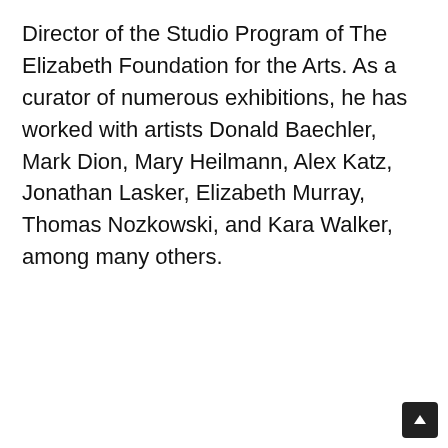Director of the Studio Program of The Elizabeth Foundation for the Arts. As a curator of numerous exhibitions, he has worked with artists Donald Baechler, Mark Dion, Mary Heilmann, Alex Katz, Jonathan Lasker, Elizabeth Murray, Thomas Nozkowski, and Kara Walker, among many others.